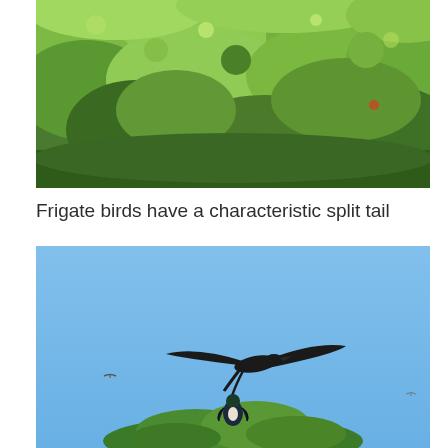[Figure (photo): Dense tropical green vegetation and trees viewed from above or at canopy level, in bright sunlight.]
Frigate birds have a characteristic split tail
[Figure (photo): A frigate bird soaring in a clear blue sky with its characteristic forked/split tail visible, and another bird or bird perched in foliage at the bottom of the frame.]